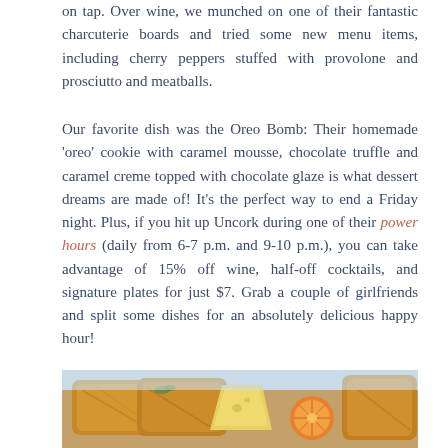on tap. Over wine, we munched on one of their fantastic charcuterie boards and tried some new menu items, including cherry peppers stuffed with provolone and prosciutto and meatballs.
Our favorite dish was the Oreo Bomb: Their homemade 'oreo' cookie with caramel mousse, chocolate truffle and caramel creme topped with chocolate glaze is what dessert dreams are made of! It's the perfect way to end a Friday night. Plus, if you hit up Uncork during one of their power hours (daily from 6-7 p.m. and 9-10 p.m.), you can take advantage of 15% off wine, half-off cocktails, and signature plates for just $7. Grab a couple of girlfriends and split some dishes for an absolutely delicious happy hour!
[Figure (photo): Photo of food items on a wooden board, including what appears to be bread, cheese, and a slice of orange, on a light blue/white surface.]